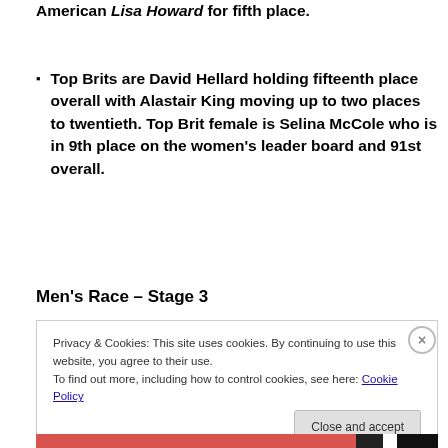Moroccan Raji having an excellent stage displacing American Lisa Howard for fifth place.
Top Brits are David Hellard holding fifteenth place overall with Alastair King moving up to two places to twentieth. Top Brit female is Selina McCole who is in 9th place on the women's leader board and 91st overall.
Men's Race – Stage 3
Privacy & Cookies: This site uses cookies. By continuing to use this website, you agree to their use.
To find out more, including how to control cookies, see here: Cookie Policy
Close and accept